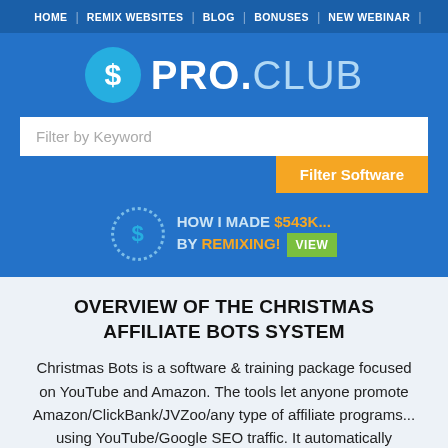HOME | REMIX WEBSITES | BLOG | BONUSES | NEW WEBINAR |
[Figure (logo): PRO.CLUB logo with blue dollar sign circle and text PRO.CLUB]
Filter by Keyword
Filter Software
HOW I MADE $543K... BY REMIXING! VIEW
OVERVIEW OF THE CHRISTMAS AFFILIATE BOTS SYSTEM
Christmas Bots is a software & training package focused on YouTube and Amazon. The tools let anyone promote Amazon/ClickBank/JVZoo/any type of affiliate programs... using YouTube/Google SEO traffic. It automatically